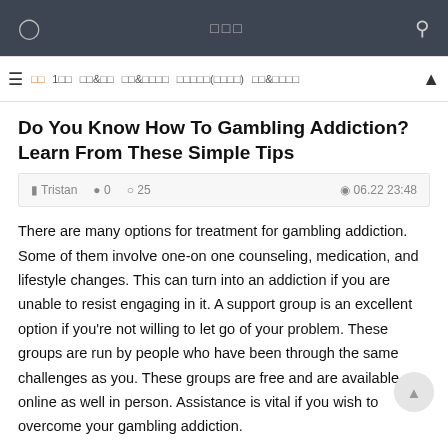□□□
□□ 1□□ □□&□□ □□&□□□□ □□□□□(□□□□) □□&□□□□
Do You Know How To Gambling Addiction? Learn From These Simple Tips
Tristan  0  25  06.22 23:48
There are many options for treatment for gambling addiction. Some of them involve one-on one counseling, medication, and lifestyle changes. This can turn into an addiction if you are unable to resist engaging in it. A support group is an excellent option if you're not willing to let go of your problem. These groups are run by people who have been through the same challenges as you. These groups are free and are available online as well in person. Assistance is vital if you wish to overcome your gambling addiction.
There are many methods to stop gambling addiction. These